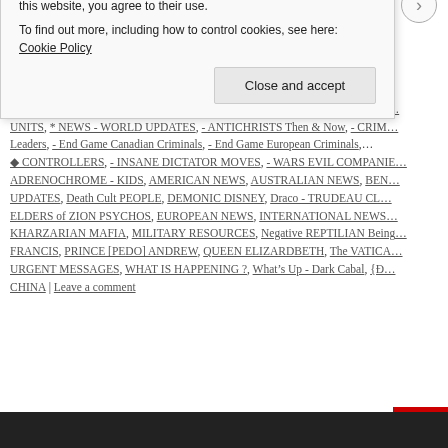Benjamin Fulford Report: “It’s Getting Biblical” — March 16, 2… Weekly Geo-political News and Analysis It’s getting biblical fol… down for the first time in history Marc… Benjamin Fulford Rep…
→
Posted in * FREEDOM FIGHTERS, * GODS - Enki - Enlil - Anu, * INFORMAT… UNITS, * NEWS - WORLD UPDATES, - ANTICHRISTS Then & Now, - CRIM… Leaders, - End Game Canadian Criminals, - End Game European Criminals, … ♦ CONTROLLERS, - INSANE DICTATOR MOVES, - WARS EVIL COMPANIE… ADRENOCHROME - KIDS, AMERICAN NEWS, AUSTRALIAN NEWS, BEN… UPDATES, Death Cult PEOPLE, DEMONIC DISNEY, Draco - TRUDEAU CL… ELDERS of ZION PSYCHOS, EUROPEAN NEWS, INTERNATIONAL NEWS… KHARZARIAN MAFIA, MILITARY RESOURCES, Negative REPTILIAN Being… FRANCIS, PRINCE [PEDO] ANDREW, QUEEN ELIZARDBETH, The VATICA… URGENT MESSAGES, WHAT IS HAPPENING ?, What’s Up - Dark Cabal, {Đ… CHINA | Leave a comment
Privacy & Cookies: This site uses cookies. By continuing to use this website, you agree to their use.
To find out more, including how to control cookies, see here: Cookie Policy
Close and accept